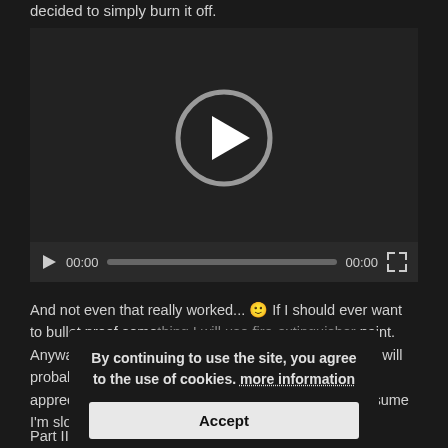decided to simply burn it off.
[Figure (other): Embedded video player with dark background, large circular play button in center, and playback controls (play button, timecode 00:00, progress bar, duration 00:00, fullscreen button) at bottom.]
And not even that really worked... 🙂 If I should ever want to bullet proof something I will use fire-extinguisher paint. Anyway and as usual, a one man arc/mig/welder and I will probably never become the closest of friends but I appreciate every occasion to battle them. At least I assume I'm sloooowly getting better.
[Figure (other): Cookie consent overlay dialog with text 'By continuing to use the site, you agree to the use of cookies. more information' and an Accept button.]
Part II to follow as I proceed.